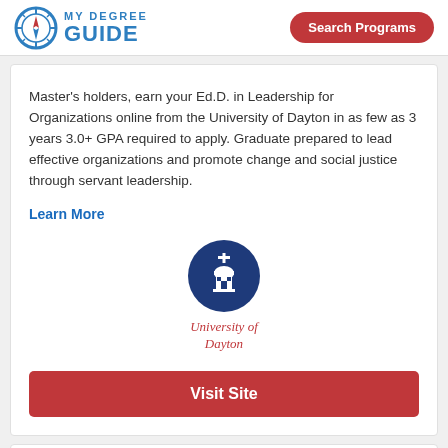MY DEGREE GUIDE | Search Programs
Master's holders, earn your Ed.D. in Leadership for Organizations online from the University of Dayton in as few as 3 years 3.0+ GPA required to apply. Graduate prepared to lead effective organizations and promote change and social justice through servant leadership.
Learn More
[Figure (logo): University of Dayton circular logo with dome/chapel icon on navy blue background, with 'University of Dayton' text in red italic below]
Visit Site